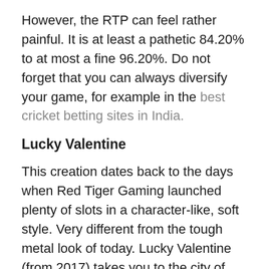However, the RTP can feel rather painful. It is at least a pathetic 84.20% to at most a fine 96.20%. Do not forget that you can always diversify your game, for example in the best cricket betting sites in India.
Lucky Valentine
This creation dates back to the days when Red Tiger Gaming launched plenty of slots in a character-like, soft style. Very different from the tough metal look of today. Lucky Valentine (from 2017) takes you to the city of love.
Cupid already has all kinds of presents in